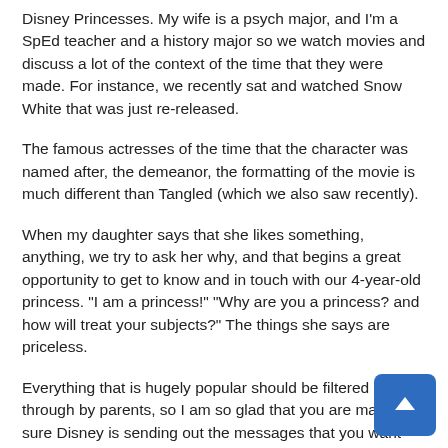Disney Princesses. My wife is a psych major, and I'm a SpEd teacher and a history major so we watch movies and discuss a lot of the context of the time that they were made. For instance, we recently sat and watched Snow White that was just re-released.
The famous actresses of the time that the character was named after, the demeanor, the formatting of the movie is much different than Tangled (which we also saw recently).
When my daughter says that she likes something, anything, we try to ask her why, and that begins a great opportunity to get to know and in touch with our 4-year-old princess. "I am a princess!" "Why are you a princess? and how will treat your subjects?" The things she says are priceless.
Everything that is hugely popular should be filtered through by parents, so I am so glad that you are making sure Disney is sending out the messages that you want your daughter to pick up. If you don't keep out the wrong messages when you can control it, who will keep them out when you can't contro